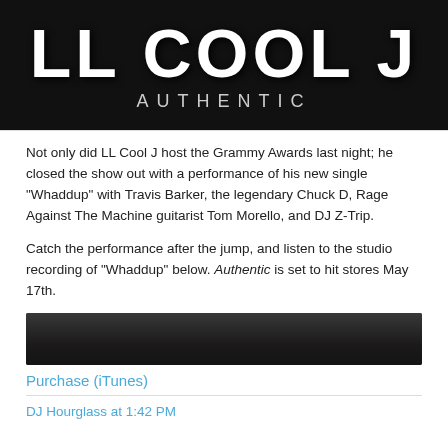[Figure (photo): Album cover image for LL Cool J 'Authentic' — large white block letters 'LL COOL J' at top and 'AUTHENTIC' in smaller spaced letters below, dark textured background]
Not only did LL Cool J host the Grammy Awards last night; he closed the show out with a performance of his new single "Whaddup" with Travis Barker, the legendary Chuck D, Rage Against The Machine guitarist Tom Morello, and DJ Z-Trip.
Catch the performance after the jump, and listen to the studio recording of "Whaddup" below. Authentic is set to hit stores May 17th.
[Figure (photo): Dark thumbnail image, partial view of a person]
Purchase (iTunes)
DJ Hourglass at 1:42 PM